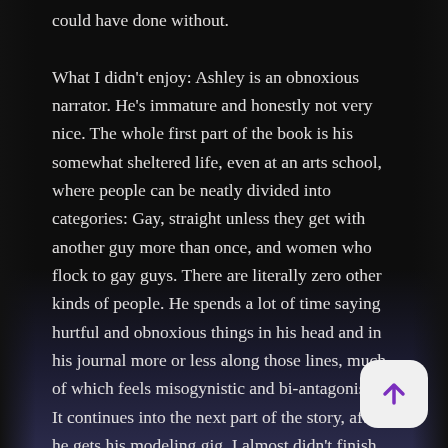could have done without.

What I didn't enjoy: Ashley is an obnoxious narrator. He's immature and honestly not very nice. The whole first part of the book is his somewhat sheltered life, even at an arts school, where people can be neatly divided into categories: Gay, straight unless they get with another guy more than once, and women who flock to gay guys. There are literally zero other kinds of people. He spends a lot of time saying hurtful and obnoxious things in his head and in his journal more or less along those lines, much of which feels misogynistic and bi-antagonistic. It continues into the next part of the story, after he gets his modeling gig. I almost didn't finish the book because of Ashley's